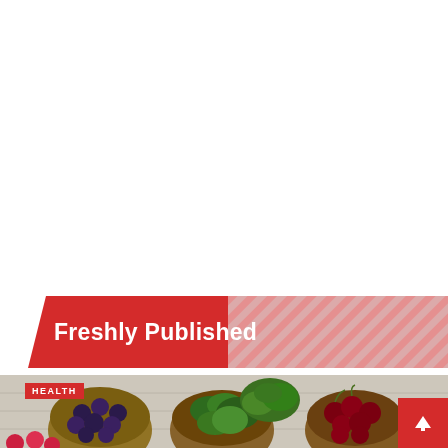[Figure (illustration): White blank upper portion of page]
Freshly Published
[Figure (photo): Photograph of bowls containing blueberries, spinach and broccoli, cherries, and black pepper on a wooden surface. A red HEALTH label badge is overlaid in the top-left. A red up-arrow button is in the bottom-right corner.]